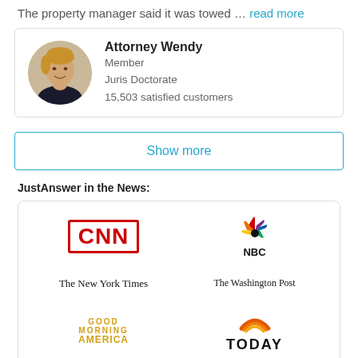The property manager said it was towed … read more
Attorney Wendy
Member
Juris Doctorate
15,503 satisfied customers
Show more
JustAnswer in the News:
[Figure (logo): News outlet logos: CNN, NBC, The New York Times, The Washington Post, Good Morning America, TODAY]